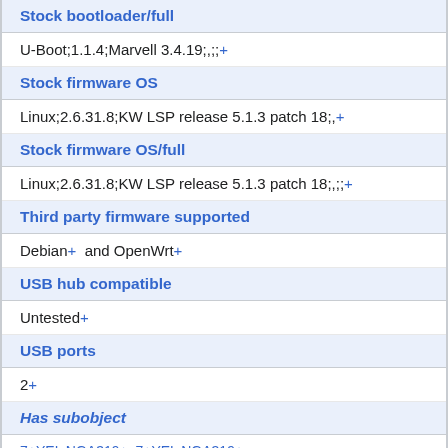Stock bootloader/full
U-Boot;1.1.4;Marvell 3.4.19;,;;+
Stock firmware OS
Linux;2.6.31.8;KW LSP release 5.1.3 patch 18;,+
Stock firmware OS/full
Linux;2.6.31.8;KW LSP release 5.1.3 patch 18;,;;+
Third party firmware supported
Debian+ and OpenWrt+
USB hub compatible
Untested+
USB ports
2+
Has subobject
7+YEL NGA319+; 7+YEL NGA319+;